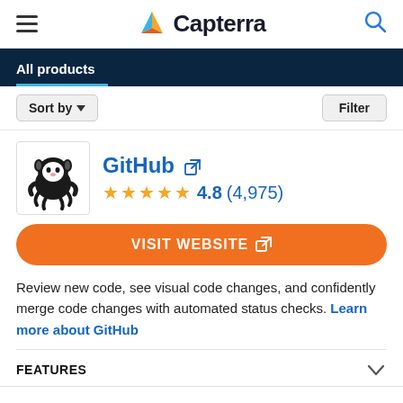Capterra
All products
Sort by   Filter
GitHub
★★★★★ 4.8 (4,975)
VISIT WEBSITE
Review new code, see visual code changes, and confidently merge code changes with automated status checks. Learn more about GitHub
FEATURES